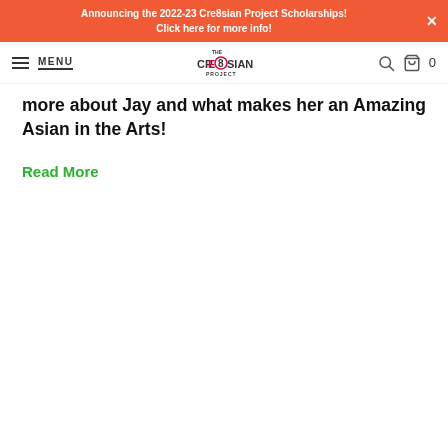Announcing the 2022-23 Cre8sian Project Scholarships! Click here for more info!
MENU | The Cre8sian Project logo | search icon | cart 0
more about Jay and what makes her an Amazing Asian in the Arts!
Read More